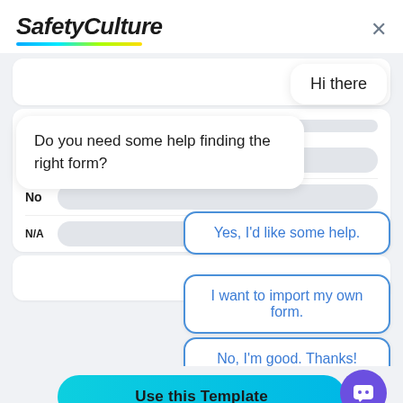[Figure (screenshot): SafetyCulture app interface showing a chatbot overlay with a 'Hi there' greeting bubble, a bot message asking 'Do you need some help finding the right form?', and three reply buttons: 'Yes, I'd like some help.', 'I want to import my own form.', 'No, I'm good. Thanks!'. Background shows a list with 'Tourniquet Trai...' and rating rows. Bottom bar has a cyan 'Use this Template' button and a purple chatbot FAB icon.]